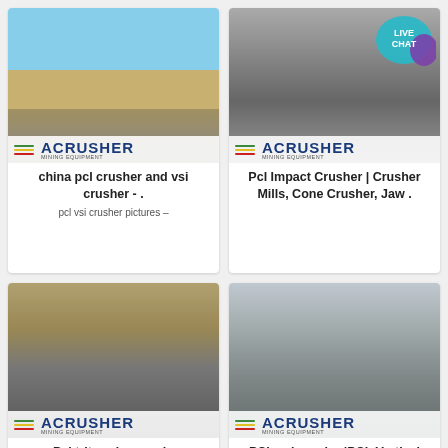[Figure (photo): Jaw crusher / mining equipment outdoor installation with ACRUSHER logo overlay]
china pcl crusher and vsi crusher - .
pcl vsi crusher pictures –
[Figure (photo): Large vertical industrial crusher/mill with ACRUSHER logo overlay and Live Chat button]
Pcl Impact Crusher | Crusher Mills, Cone Crusher, Jaw .
[Figure (photo): Quarry mining conveyor belt and crushing equipment with ACRUSHER logo overlay]
Pcl trituradoras vsi - colegiopotencial
serie pcl vsi trituradoras, pcl
[Figure (photo): Industrial impact crusher vertical shaft installation with ACRUSHER logo overlay]
PCL vsi crusher|PCL Vertical shaft impact crusher for sale
crusher for sale